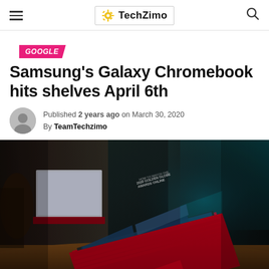TechZimo
GOOGLE
Samsung's Galaxy Chromebook hits shelves April 6th
Published 2 years ago on March 30, 2020
By TeamTechzimo
[Figure (photo): Samsung Galaxy Chromebook in red open on a wooden table, with a second laptop visible in the background, in a dimly lit setting]